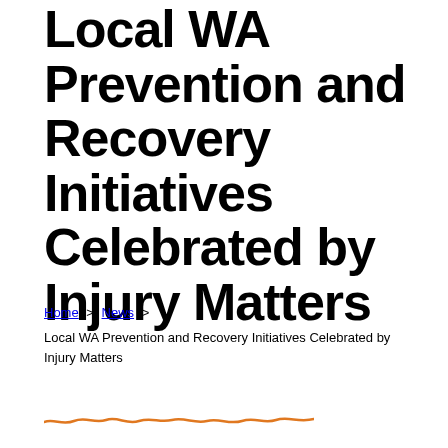Local WA Prevention and Recovery Initiatives Celebrated by Injury Matters
Home > News > Local WA Prevention and Recovery Initiatives Celebrated by Injury Matters
[Figure (illustration): Orange wavy decorative line at the bottom of the page]